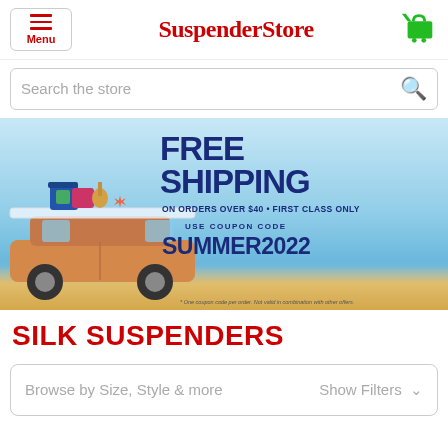Menu | SuspenderStore | Cart
Search the store
[Figure (screenshot): Free Shipping promotional banner. Large bold text reading FREE SHIPPING. Subtext: ON ORDERS OVER $40 • FIRST CLASS ONLY. Use coupon code SUMMER2022. Image shows a car on a beach with luggage, guitar, and surfboard on roof. Fine print: One coupon code per order. Not valid in combination with other offers.]
SILK SUSPENDERS
Browse by Size, Style & more   Show Filters ∨